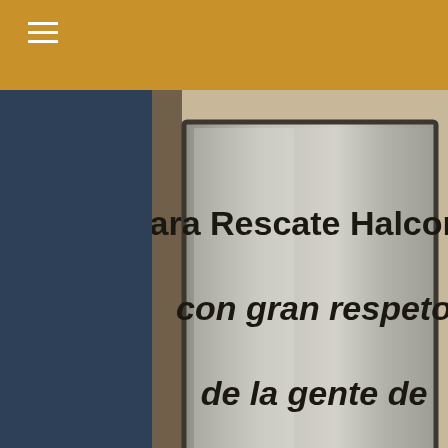[Figure (photo): A metallic brushed steel plaque mounted on a wall reading 'Para Rescate Halcones con gran respeto de la gente de Fort Wayne, Indiana' with a city seal at the bottom.]
This unit originally served Whitley County EMS (IN) and subsequently Parkview Whitley EMS. It was the very first project of One World Medics, and the one that "started it all". The community of Fort Wayne came together and